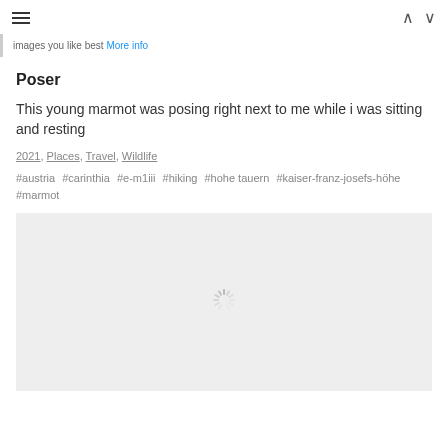≡ ∧ ∨
images you like best More info
Poser
This young marmot was posing right next to me while i was sitting and resting
2021, Places, Travel, Wildlife
#austria #carinthia #e-m1iii #hiking #hohe tauern #kaiser-franz-josefs-höhe #marmot
[Figure (photo): Loading placeholder for a photo of a young marmot posing next to the photographer while sitting and resting, shown with a spinner indicating the image is loading]